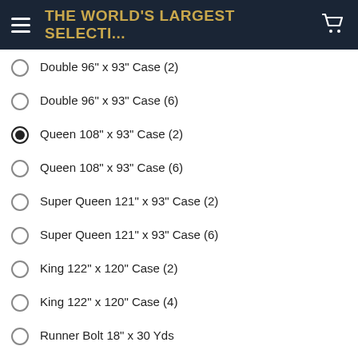THE WORLD'S LARGEST SELECTI...
Double 96" x 93" Case (2)
Double 96" x 93" Case (6)
Queen 108" x 93" Case (2)
Queen 108" x 93" Case (6)
Super Queen 121" x 93" Case (2)
Super Queen 121" x 93" Case (6)
King 122" x 120" Case (2)
King 122" x 120" Case (4)
Runner Bolt 18" x 30 Yds
Baby Bolt 46" x 15 Yds
Throw Bolt 60" x 15 Yds
Throw Roll 60" x 30 Yds
Queen Roll 93" x 30 Yds
King Roll 120" x 30 Yds
Sampler Case (1 Craft , 1 Crib, 2 Throws, 1 Twin, 1 Dble, 1 Queen, 1 Super Queen, 1 King)